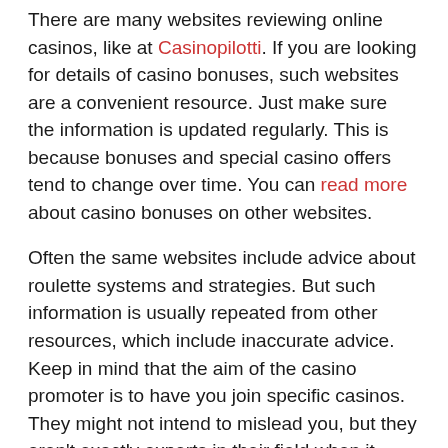There are many websites reviewing online casinos, like at Casinopilotti. If you are looking for details of casino bonuses, such websites are a convenient resource. Just make sure the information is updated regularly. This is because bonuses and special casino offers tend to change over time. You can read more about casino bonuses on other websites.
Often the same websites include advice about roulette systems and strategies. But such information is usually repeated from other resources, which include inaccurate advice. Keep in mind that the aim of the casino promoter is to have you join specific casinos. They might not intend to mislead you, but they aren't exactly experts in their field when it comes to winning roulette. If anything, casino review websites might prefer you to lose, because they might get commissions on your losses.